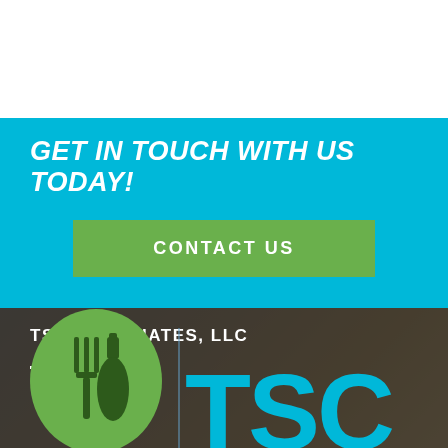GET IN TOUCH WITH US TODAY!
CONTACT US
TSC ASSOCIATES, LLC
[Figure (logo): TSC Associates LLC logo with green oval/egg shape containing fork and bottle icons, and large cyan TSC lettering]